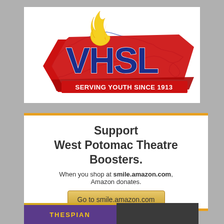[Figure (logo): VHSL (Virginia High School League) logo. Large bold blue letters VHSL on a red swoosh banner with yellow flame above. Text 'SERVING YOUTH SINCE 1913' on red ribbon. Background is outline of Virginia state map in blue.]
Support West Potomac Theatre Boosters. When you shop at smile.amazon.com, Amazon donates.
Go to smile.amazon.com
[Figure (logo): Thespian logo partially visible at bottom of page, purple/gold badge style.]